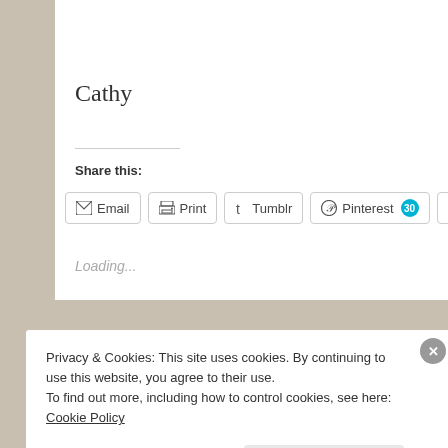Cathy
Share this:
[Figure (screenshot): Social sharing buttons row: Email, Print, Tumblr, Pinterest (30), Facebook]
Loading...
Privacy & Cookies: This site uses cookies. By continuing to use this website, you agree to their use.
To find out more, including how to control cookies, see here: Cookie Policy